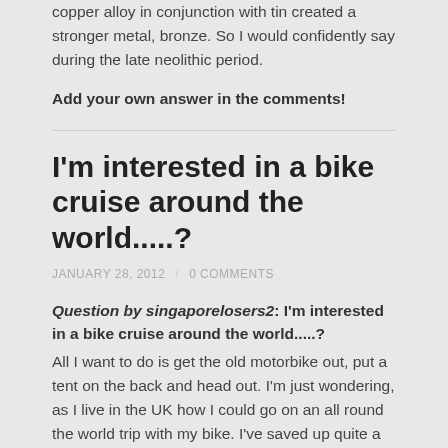copper alloy in conjunction with tin created a stronger metal, bronze. So I would confidently say during the late neolithic period.
Add your own answer in the comments!
I'm interested in a bike cruise around the world.....?
JANUARY 28, 2012   /   0 COMMENTS
Question by singaporelosers2: I'm interested in a bike cruise around the world.....?
All I want to do is get the old motorbike out, put a tent on the back and head out. I'm just wondering, as I live in the UK how I could go on an all round the world trip with my bike. I've saved up quite a bit of money so I can